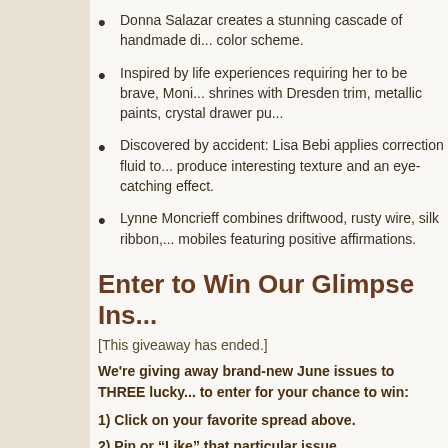Donna Salazar creates a stunning cascade of handmade di... color scheme.
Inspired by life experiences requiring her to be brave, Moni... shrines with Dresden trim, metallic paints, crystal drawer pu...
Discovered by accident: Lisa Bebi applies correction fluid to... produce interesting texture and an eye-catching effect.
Lynne Moncrieff combines driftwood, rusty wire, silk ribbon,... mobiles featuring positive affirmations.
Enter to Win Our Glimpse Ins...
[This giveaway has ended.]
We're giving away brand-new June issues to THREE lucky... to enter for your chance to win:
1) Click on your favorite spread above.
2) Pin or “Like” that particular issue.
3) If you pinned to Pinterest, share the link in the commen... Facebook, tag us so we can see.
4) If you don’t have Facebook or Pinterest, please commer... you find most appealing and why.
Winners will be randomly selected for our magazine givea...